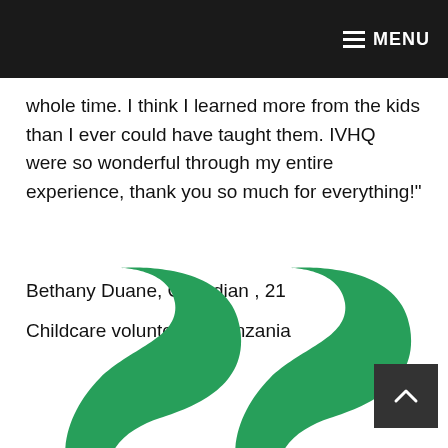MENU
whole time. I think I learned more from the kids than I ever could have taught them. IVHQ were so wonderful through my entire experience, thank you so much for everything!"
Bethany Duane, Canadian , 21
Childcare volunteer in Tanzania
[Figure (illustration): Large green decorative quotation marks]